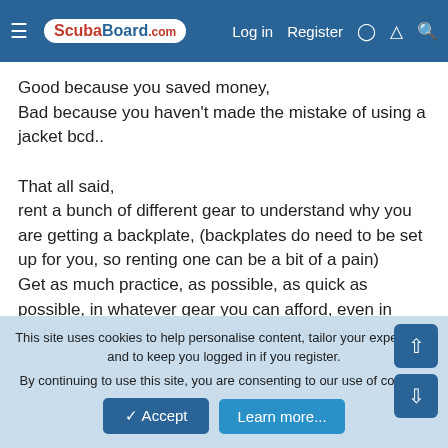ScubaBoard.com — Log in | Register
Good because you saved money,
Bad because you haven't made the mistake of using a jacket bcd..

That all said,
rent a bunch of different gear to understand why you are getting a backplate, (backplates do need to be set up for you, so renting one can be a bit of a pain)
Get as much practice, as possible, as quick as possible, in whatever gear you can afford, even in rental gear, and it will stick with you like riding a bike,
Ontwreckdiver
Contributor
This site uses cookies to help personalise content, tailor your experience and to keep you logged in if you register.
By continuing to use this site, you are consenting to our use of cookies.